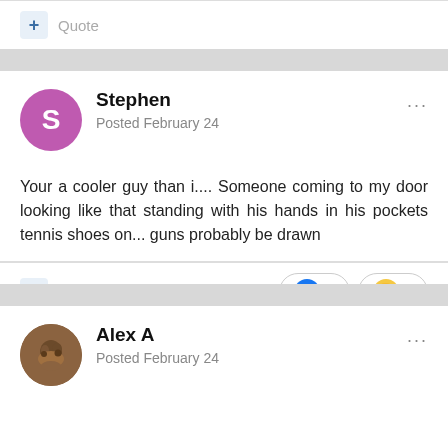+ Quote
Stephen
Posted February 24
Your a cooler guy than i.... Someone coming to my door looking like that standing with his hands in his pockets tennis shoes on... guns probably be drawn
+ Quote  👍 1  😆 2
Alex A
Posted February 24